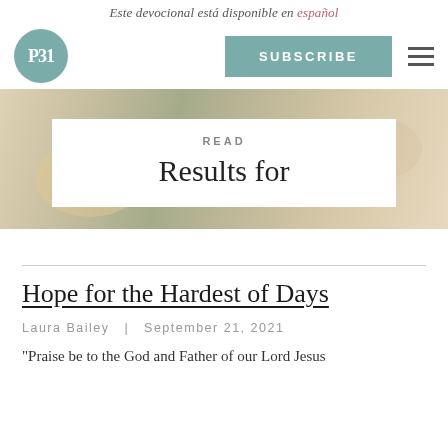Este devocional está disponible en español
[Figure (logo): P31 circular teal logo]
SUBSCRIBE
[Figure (photo): Background photo of hands writing at a table]
READ
Results for
Hope for the Hardest of Days
Laura Bailey   |   September 21, 2021
"Praise be to the God and Father of our Lord Jesus